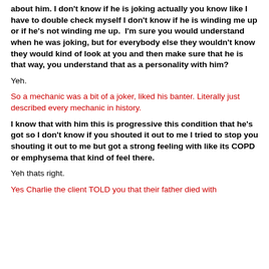about him. I don't know if he is joking actually you know like I have to double check myself I don't know if he is winding me up or if he's not winding me up.  I'm sure you would understand when he was joking, but for everybody else they wouldn't know they would kind of look at you and then make sure that he is that way, you understand that as a personality with him?
Yeh.
So a mechanic was a bit of a joker, liked his banter. Literally just described every mechanic in history.
I know that with him this is progressive this condition that he's got so I don't know if you shouted it out to me I tried to stop you shouting it out to me but got a strong feeling with like its COPD or emphysema that kind of feel there.
Yeh thats right.
Yes Charlie the client TOLD you that their father died with